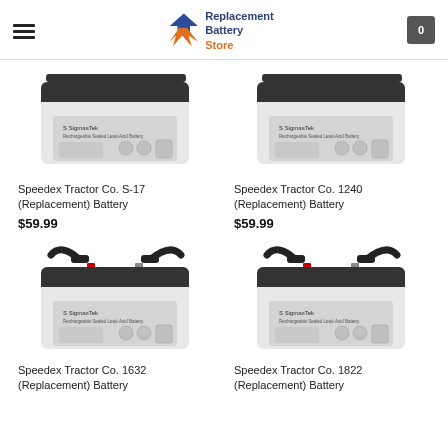Replacement Battery Store
[Figure (photo): SigmasTek battery product photo - rectangular white sealed lead-acid battery for Speedex Tractor Co. S-17]
Speedex Tractor Co. S-17 (Replacement) Battery
$59.99
[Figure (photo): SigmasTek battery product photo - rectangular white sealed lead-acid battery for Speedex Tractor Co. 1240]
Speedex Tractor Co. 1240 (Replacement) Battery
$59.99
[Figure (photo): SigmasTek battery product photo - rectangular white sealed lead-acid battery with handles for Speedex Tractor Co. 1632]
Speedex Tractor Co. 1632 (Replacement) Battery
[Figure (photo): SigmasTek battery product photo - rectangular white sealed lead-acid battery with handles for Speedex Tractor Co. 1822]
Speedex Tractor Co. 1822 (Replacement) Battery